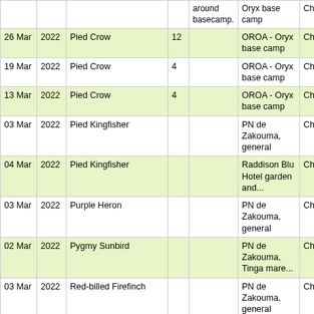|  |  | Species | Count | Notes | Location | Cha... |
| --- | --- | --- | --- | --- | --- | --- |
|  |  |  |  | around basecamp. | Oryx base camp | Cha |
| 26 Mar | 2022 | Pied Crow | 12 |  | OROA - Oryx base camp | Cha |
| 19 Mar | 2022 | Pied Crow | 4 |  | OROA - Oryx base camp | Cha |
| 13 Mar | 2022 | Pied Crow | 4 |  | OROA - Oryx base camp | Cha |
| 03 Mar | 2022 | Pied Kingfisher |  |  | PN de Zakouma, general | Cha |
| 04 Mar | 2022 | Pied Kingfisher |  |  | Raddison Blu Hotel garden and... | Cha |
| 03 Mar | 2022 | Purple Heron |  |  | PN de Zakouma, general | Cha |
| 02 Mar | 2022 | Pygmy Sunbird |  |  | PN de Zakouma, Tinga mare... | Cha |
| 03 Mar | 2022 | Red-billed Firefinch |  |  | PN de Zakouma, general | Cha |
273 items found, displaying 151 to 200.[First/Prev] 1, 2, 3, 4, 5, 6 [N... Export: Excel